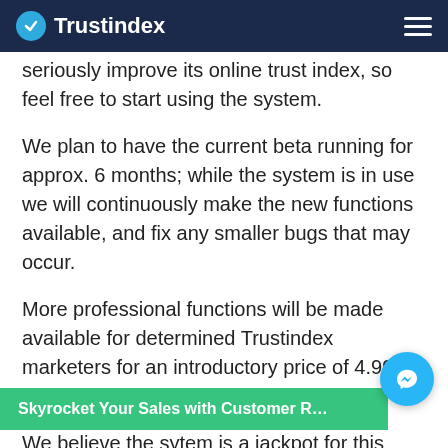Trustindex
seriously improve its online trust index, so feel free to start using the system.
We plan to have the current beta running for approx. 6 months; while the system is in use we will continuously make the new functions available, and fix any smaller bugs that may occur.
More professional functions will be made available for determined Trustindex marketers for an introductory price of 4.990 Ft.
We believe the sytem is a jackpot for this price, have pa... package subscription I feel that we give it away
[Figure (other): Messenger chat bubble icon overlay with green CTA bar reading 'Skyrocket Your Sales with Customer R...']